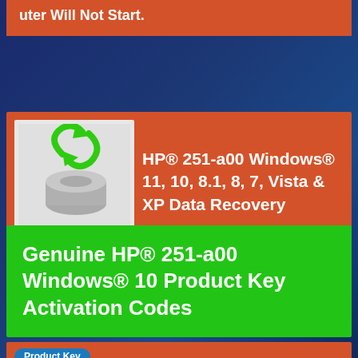uter Will Not Start.
HP® 251-a00 Windows® 11, 10, 8.1, 8, 7, Vista & XP Data Recovery
Data Recovery Even If The Computer Will Not Start.
Genuine HP® 251-a00 Windows® 10 Product Key Activation Codes
Product Key